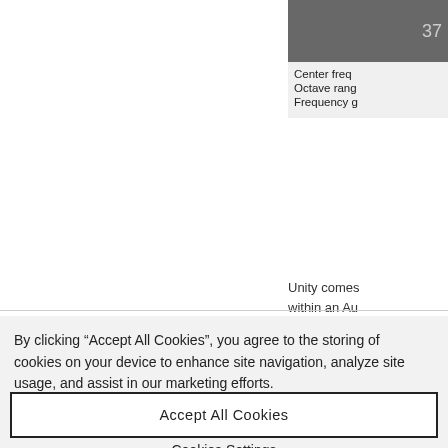[Figure (screenshot): Partial screenshot of a DSP/audio plugin panel showing a dark gray area with number 37, and labels: Center freq, Octave rang, Frequency g]
Unity comes within an Au DSP effect p
By clicking “Accept All Cookies”, you agree to the storing of cookies on your device to enhance site navigation, analyze site usage, and assist in our marketing efforts.
Cookies Settings
Accept All Cookies